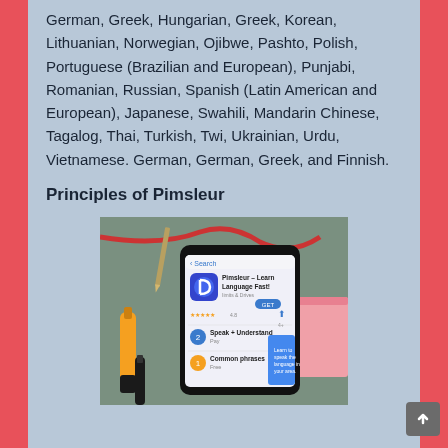German, Greek, Hungarian, Greek, Korean, Lithuanian, Norwegian, Ojibwe, Pashto, Polish, Portuguese (Brazilian and European), Punjabi, Romanian, Russian, Spanish (Latin American and European), Japanese, Swahili, Mandarin Chinese, Tagalog, Thai, Turkish, Twi, Ukrainian, Urdu, Vietnamese. German, German, Greek, and Finnish.
Principles of Pimsleur
[Figure (photo): A smartphone displaying the Pimsleur – Learn Language Fast app on a store listing page, placed on a gray-green surface next to an orange highlighter marker, a pencil, a red cord, and a pink notepad.]